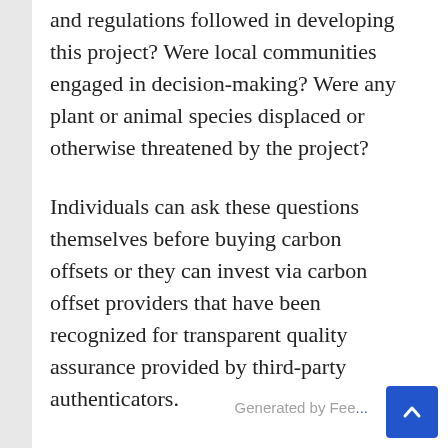and regulations followed in developing this project? Were local communities engaged in decision-making? Were any plant or animal species displaced or otherwise threatened by the project?
Individuals can ask these questions themselves before buying carbon offsets or they can invest via carbon offset providers that have been recognized for transparent quality assurance provided by third-party authenticators.
We at Terrapass, where we pride ourselves in being a leader in offset-based climate action, were the first carbon offset program to enlist review of our products and projects. Each of our supported projects is verified by an accredited and independent verifier and a